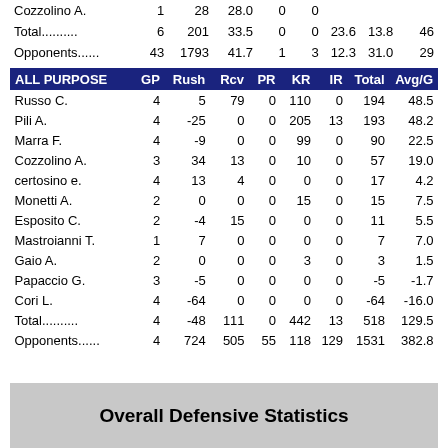|  |  |  |  |  |  |  |  |  |
| --- | --- | --- | --- | --- | --- | --- | --- | --- |
| Cozzolino A. | 1 | 28 | 28.0 | 0 | 0 |  |  |  |
| Total.......... | 6 | 201 | 33.5 | 0 | 0 | 23.6 | 13.8 | 46 |
| Opponents...... | 43 | 1793 | 41.7 | 1 | 3 | 12.3 | 31.0 | 29 |
| ALL PURPOSE | GP | Rush | Rcv | PR | KR | IR | Total | Avg/G |
| --- | --- | --- | --- | --- | --- | --- | --- | --- |
| Russo C. | 4 | 5 | 79 | 0 | 110 | 0 | 194 | 48.5 |
| Pili A. | 4 | -25 | 0 | 0 | 205 | 13 | 193 | 48.2 |
| Marra F. | 4 | -9 | 0 | 0 | 99 | 0 | 90 | 22.5 |
| Cozzolino A. | 3 | 34 | 13 | 0 | 10 | 0 | 57 | 19.0 |
| certosino e. | 4 | 13 | 4 | 0 | 0 | 0 | 17 | 4.2 |
| Monetti A. | 2 | 0 | 0 | 0 | 15 | 0 | 15 | 7.5 |
| Esposito C. | 2 | -4 | 15 | 0 | 0 | 0 | 11 | 5.5 |
| Mastroianni T. | 1 | 7 | 0 | 0 | 0 | 0 | 7 | 7.0 |
| Gaio A. | 2 | 0 | 0 | 0 | 3 | 0 | 3 | 1.5 |
| Papaccio G. | 3 | -5 | 0 | 0 | 0 | 0 | -5 | -1.7 |
| Cori L. | 4 | -64 | 0 | 0 | 0 | 0 | -64 | -16.0 |
| Total.......... | 4 | -48 | 111 | 0 | 442 | 13 | 518 | 129.5 |
| Opponents...... | 4 | 724 | 505 | 55 | 118 | 129 | 1531 | 382.8 |
Overall Defensive Statistics